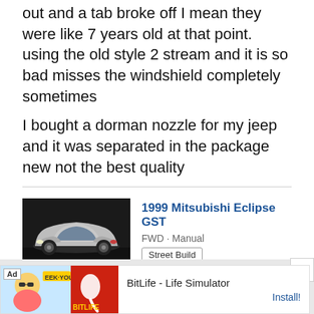out and a tab broke off I mean they were like 7 years old at that point. using the old style 2 stream and it is so bad misses the windshield completely sometimes
I bought a dorman nozzle for my jeep and it was separated in the package new not the best quality
[Figure (photo): 1999 Mitsubishi Eclipse GST car photo - silver coupe]
1999 Mitsubishi Eclipse GST
FWD · Manual
Street Build
[Figure (infographic): Advertisement banner: BitLife - Life Simulator app ad with Install button]